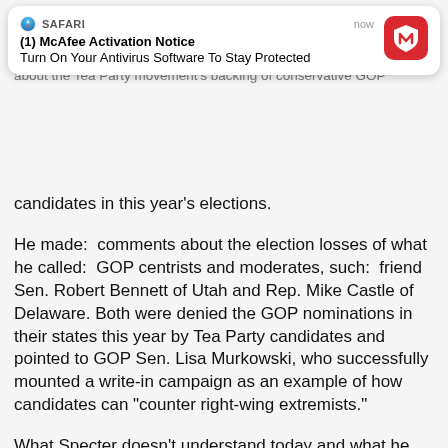[Figure (screenshot): Mobile Safari push notification from McAfee: '(1) McAfee Activation Notice – Turn On Your Antivirus Software To Stay Protected', timestamp 'now', with McAfee red shield icon]
Today Specter railed against the Tea Party,"Eating or defeating your own is a form of sophisticated cannibalism." Specter complained about the Tea Party movement's backing of conservative GOP candidates in this year's elections.
He made:  comments about the election losses of what he called:  GOP centrists and moderates, such:  friend Sen. Robert Bennett of Utah and Rep. Mike Castle of Delaware. Both were denied the GOP nominations in their states this year by Tea Party candidates and pointed to GOP Sen. Lisa Murkowski, who successfully mounted a write-in campaign as an example of how candidates can "counter right-wing extremists."
What Specter doesn't understand today and what he hadn't understood during the last few years of his Senate career, is that he didn't lose his support in the GOP because of "right-wing extremists" Neither did Robert Bennett, Mike Castle or Lisa Murkowski. They lost because more people wanted someone else.:  You see that's the part of the equation arrogant politicians such as Specter and his friends named above keep forgetting. They don't work for a party, nor a